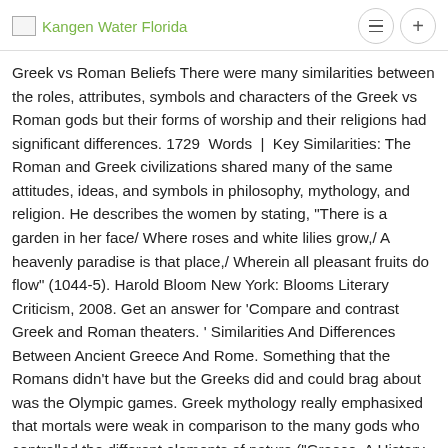Kangen Water Florida
Greek vs Roman Beliefs There were many similarities between the roles, attributes, symbols and characters of the Greek vs Roman gods but their forms of worship and their religions had significant differences. 1729 Words | Key Similarities: The Roman and Greek civilizations shared many of the same attitudes, ideas, and symbols in philosophy, mythology, and religion. He describes the women by stating, "There is a garden in her face/ Where roses and white lilies grow,/ A heavenly paradise is that place,/ Wherein all pleasant fruits do flow" (1044-5). Harold Bloom New York: Blooms Literary Criticism, 2008. Get an answer for 'Compare and contrast Greek and Roman theaters. ' Similarities And Differences Between Ancient Greece And Rome. Something that the Romans didn't have but the Greeks did and could brag about was the Olympic games. Greek mythology really emphasixed that mortals were weak in comparison to the many gods who controlled the different elements of nature ("Greece, A History of Ancient Greece, Mythology," 2014). Both